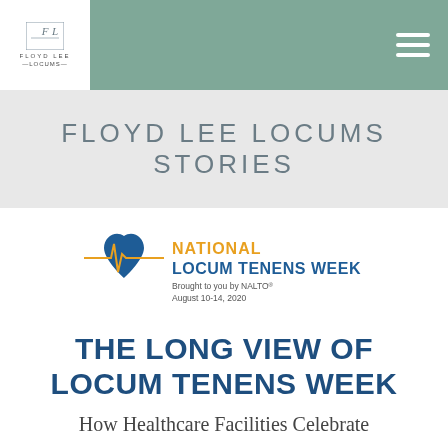[Figure (logo): Floyd Lee Locums logo in navigation bar]
FLOYD LEE LOCUMS STORIES
[Figure (logo): National Locum Tenens Week logo with heart and EKG graphic, Brought to you by NALTO, August 10-14, 2020]
THE LONG VIEW OF LOCUM TENENS WEEK
How Healthcare Facilities Celebrate